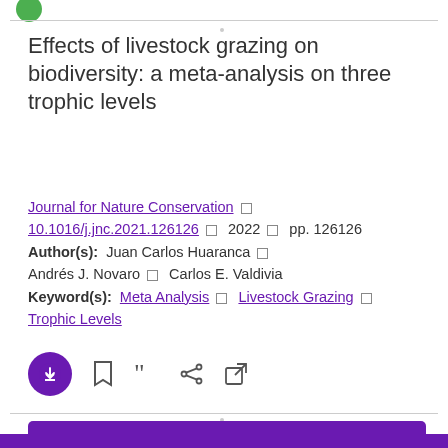[Figure (logo): Green circle logo in top-left corner]
Effects of livestock grazing on biodiversity: a meta-analysis on three trophic levels
Journal for Nature Conservation □ 10.1016/j.jnc.2021.126126 □ 2022 □ pp. 126126 Author(s): Juan Carlos Huaranca □ Andrés J. Novaro □ Carlos E. Valdivia Keyword(s): Meta Analysis □ Livestock Grazing □ Trophic Levels
[Figure (infographic): Action icons: download (purple circle with down arrow), bookmark, cite (quotation marks), share, external link]
LOAD MORE ...